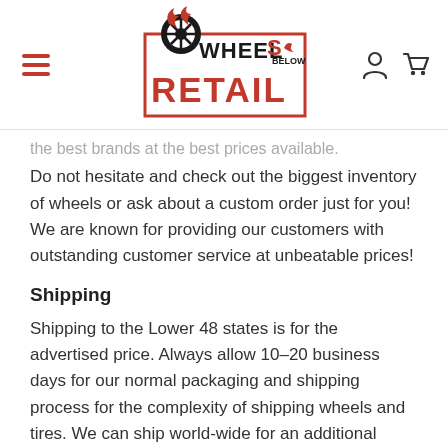Wheels Below Retail
the best brands at the best prices available. Do not hesitate and check out the biggest inventory of wheels or ask about a custom order just for you! We are known for providing our customers with outstanding customer service at unbeatable prices!
Shipping
Shipping to the Lower 48 states is for the advertised price. Always allow 10-20 business days for our normal packaging and shipping process for the complexity of shipping wheels and tires. We can ship world-wide for an additional charge. Please contact us for international shipping rates. Wheels Below